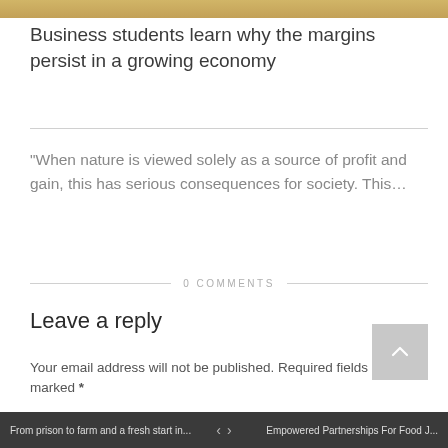Business students learn why the margins persist in a growing economy
“When nature is viewed solely as a source of profit and gain, this has serious consequences for society. This…
0 COMMENTS
Leave a reply
Your email address will not be published.  Required fields are marked *
Comment
From prison to farm and a fresh start in... < > Empowered Partnerships For Food J...